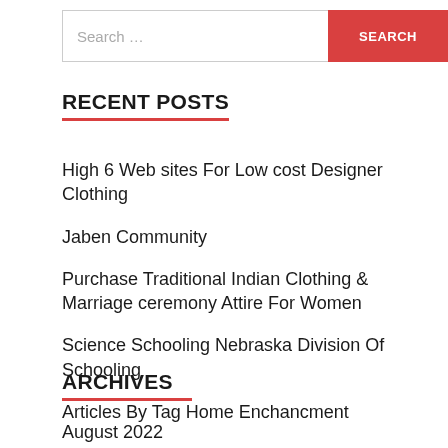Search ...
RECENT POSTS
High 6 Web sites For Low cost Designer Clothing
Jaben Community
Purchase Traditional Indian Clothing & Marriage ceremony Attire For Women
Science Schooling Nebraska Division Of Schooling
Articles By Tag Home Enchancment
ARCHIVES
August 2022